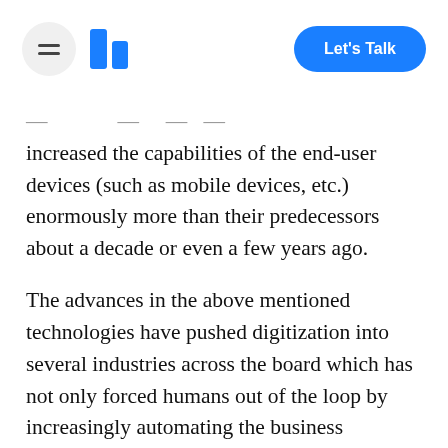Let's Talk
increased the capabilities of the end-user devices (such as mobile devices, etc.) enormously more than their predecessors about a decade or even a few years ago.
The advances in the above mentioned technologies have pushed digitization into several industries across the board which has not only forced humans out of the loop by increasingly automating the business processes but also created the need and space for...